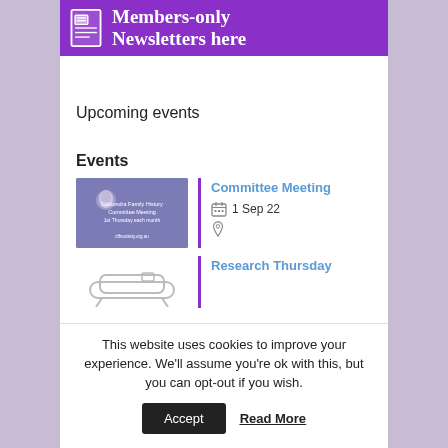[Figure (illustration): Purple banner with newspaper icon and text 'Members-only Newsletters here' in white on purple background]
Upcoming events
Events
[Figure (photo): Caloundra Family History Committee Meeting thumbnail image with ship logo on purple background]
Committee Meeting
1 Sep 22
[Figure (illustration): Couch/sofa outline icon for Research Thursday event]
Research Thursday
This website uses cookies to improve your experience. We'll assume you're ok with this, but you can opt-out if you wish.
Accept
Read More